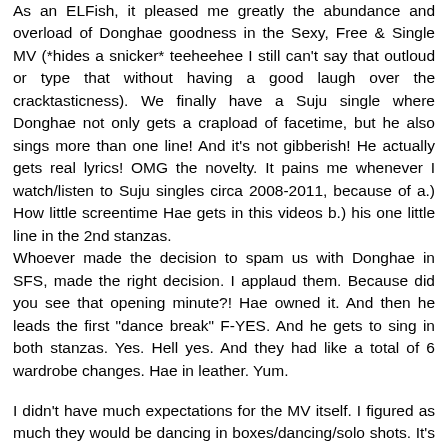As an ELFish, it pleased me greatly the abundance and overload of Donghae goodness in the Sexy, Free & Single MV (*hides a snicker* teeheehee I still can't say that outloud or type that without having a good laugh over the cracktasticness). We finally have a Suju single where Donghae not only gets a crapload of facetime, but he also sings more than one line! And it's not gibberish! He actually gets real lyrics! OMG the novelty. It pains me whenever I watch/listen to Suju singles circa 2008-2011, because of a.) How little screentime Hae gets in this videos b.) his one little line in the 2nd stanzas.
Whoever made the decision to spam us with Donghae in SFS, made the right decision. I applaud them. Because did you see that opening minute?! Hae owned it. And then he leads the first "dance break" F-YES. And he gets to sing in both stanzas. Yes. Hell yes. And they had like a total of 6 wardrobe changes. Hae in leather. Yum.
I didn't have much expectations for the MV itself. I figured as much they would be dancing in boxes/dancing/solo shots. It's frustrating because they clearly can do the storyline/creative MVs ala No Other and It's You. The Super Junior-M music video for Supergirl was dance-driven